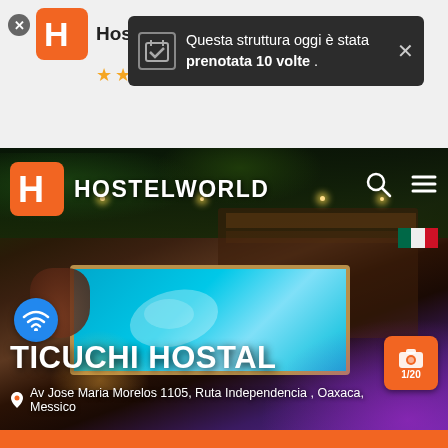[Figure (screenshot): Hostelworld app screenshot showing notification bar with booking alert and hero image of Ticuchi Hostal with pool]
Questa struttura oggi è stata prenotata 10 volte .
TICUCHI HOSTAL
Av Jose Maria Morelos 1105, Ruta Independencia , Oaxaca, Messico
1/20